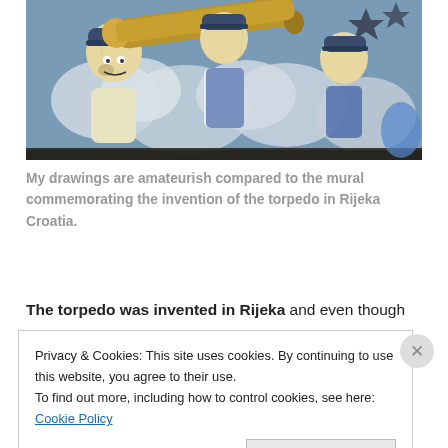[Figure (photo): Colorful street mural depicting cartoon-style workers carrying a large torpedo or cannon, painted on a wall in Rijeka, Croatia. The figures are dressed in work clothes and caps against a blue and white cloud background.]
My drawings are amateurish compared to the mural commemorating the invention of the torpedo in Rijeka Croatia.
The torpedo was invented in Rijeka and even though
Privacy & Cookies: This site uses cookies. By continuing to use this website, you agree to their use.
To find out more, including how to control cookies, see here: Cookie Policy
Close and accept